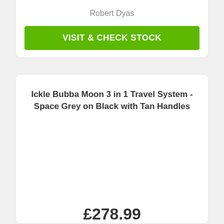Robert Dyas
VISIT & CHECK STOCK
Ickle Bubba Moon 3 in 1 Travel System - Space Grey on Black with Tan Handles
£278.99